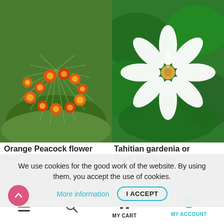[Figure (photo): Orange Peacock flower tree - orange and red tropical flower with green feathery foliage, pentagon/house-shaped crop]
[Figure (photo): Tahitian gardenia or Tiaré flower tree - white gardenia flower with green leaves, pentagon/house-shaped crop]
Orange Peacock flower tree
Tahitian gardenia or Tiaré flower tree
We use cookies for the good work of the website. By using them, you accept the use of cookies.
More information   I ACCEPT
€16,00
€32,00
MY CART   MY ACCOUNT